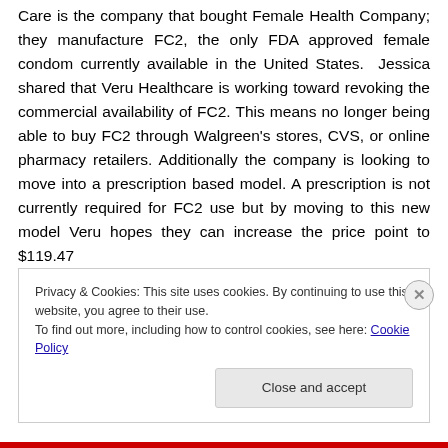Care is the company that bought Female Health Company; they manufacture FC2, the only FDA approved female condom currently available in the United States. Jessica shared that Veru Healthcare is working toward revoking the commercial availability of FC2. This means no longer being able to buy FC2 through Walgreen's stores, CVS, or online pharmacy retailers. Additionally the company is looking to move into a prescription based model. A prescription is not currently required for FC2 use but by moving to this new model Veru hopes they can increase the price point to $119.47
Privacy & Cookies: This site uses cookies. By continuing to use this website, you agree to their use.
To find out more, including how to control cookies, see here: Cookie Policy